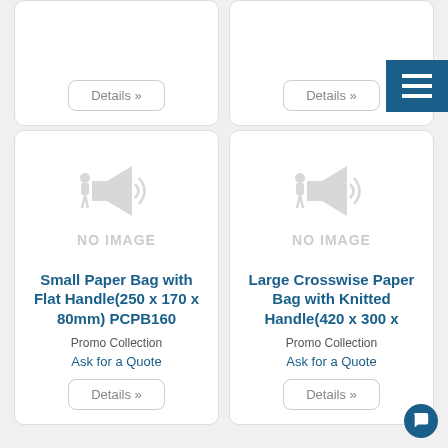[Figure (screenshot): Partial product card top with Details button on left]
[Figure (screenshot): Partial product card top with Details button on right]
[Figure (illustration): Hamburger menu icon in dark blue]
[Figure (illustration): No image placeholder with megaphone icon for Small Paper Bag product]
Small Paper Bag with Flat Handle(250 x 170 x 80mm) PCPB160
Promo Collection
Ask for a Quote
[Figure (illustration): No image placeholder with megaphone icon for Large Crosswise Paper Bag product]
Large Crosswise Paper Bag with Knitted Handle(420 x 300 x
Promo Collection
Ask for a Quote